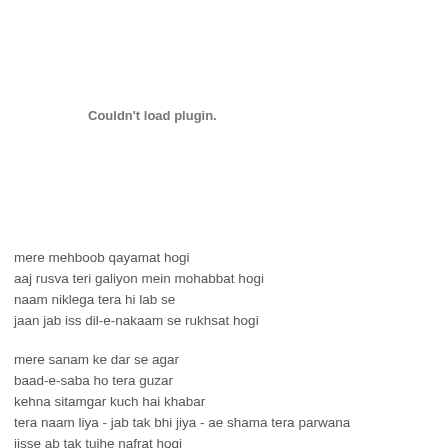Couldn't load plugin.
mere mehboob qayamat hogi
aaj rusva teri galiyon mein mohabbat hogi
naam niklega tera hi lab se
jaan jab iss dil-e-nakaam se rukhsat hogi
mere sanam ke dar se agar
baad-e-saba ho tera guzar
kehna sitamgar kuch hai khabar
tera naam liya - jab tak bhi jiya - ae shama tera parwana
jisse ab tak tujhe nafrat hogi